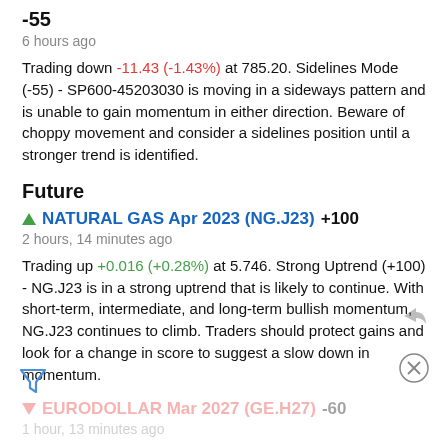-55
6 hours ago
Trading down -11.43 (-1.43%) at 785.20. Sidelines Mode (-55) - SP600-45203030 is moving in a sideways pattern and is unable to gain momentum in either direction. Beware of choppy movement and consider a sidelines position until a stronger trend is identified.
Future
NATURAL GAS Apr 2023 (NG.J23) +100
2 hours, 14 minutes ago
Trading up +0.016 (+0.28%) at 5.746. Strong Uptrend (+100) - NG.J23 is in a strong uptrend that is likely to continue. With short-term, intermediate, and long-term bullish momentum, NG.J23 continues to climb. Traders should protect gains and look for a change in score to suggest a slow down in momentum.
EURODOLLAR Mar 2027 (GE.H27) -60
1 hour, 13 minutes ago
Trading unchanged at 97.075. Crossroads (-60) - GE.H27 is struggling to move into a solid trend. Beware of choppy movement and consider a sidelines position until a stronger trend is identified.